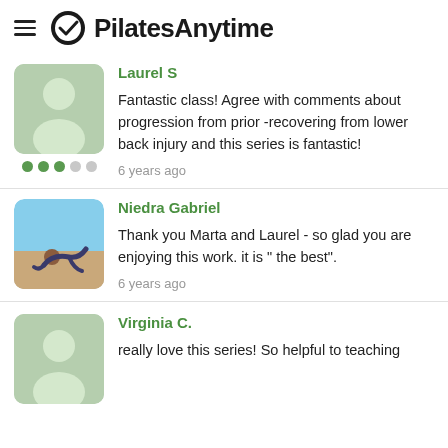PilatesAnytime
Laurel S
Fantastic class! Agree with comments about progression from prior -recovering from lower back injury and this series is fantastic!
6 years ago
Niedra Gabriel
Thank you Marta and Laurel - so glad you are enjoying this work. it is " the best".
6 years ago
Virginia C.
really love this series! So helpful to teaching